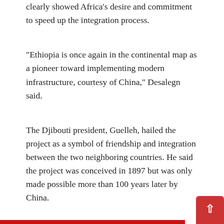clearly showed Africa’s desire and commitment to speed up the integration process.
“Ethiopia is once again in the continental map as a pioneer toward implementing modern infrastructure, courtesy of China,” Desalegn said.
The Djibouti president, Guelleh, hailed the project as a symbol of friendship and integration between the two neighboring countries. He said the project was conceived in 1897 but was only made possible more than 100 years later by China.
“China has stood by us and has been instrumental in building not only our regional infrastructure but the whole of Africa,” he said. “We see a prosperous future as a more integrated continent. This railway